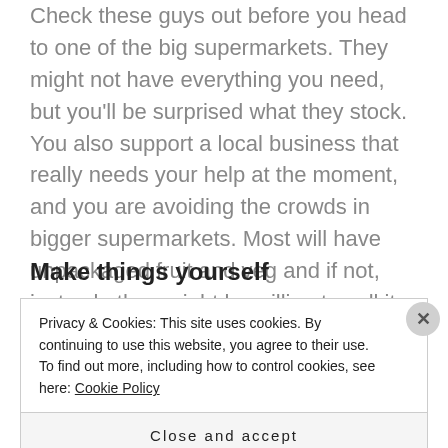Check these guys out before you head to one of the big supermarkets. They might not have everything you need, but you'll be surprised what they stock. You also support a local business that really needs your help at the moment, and you are avoiding the crowds in bigger supermarkets. Most will have unpackaged fruit and veg and if not, just ask, they might be willing to sell it without the packaging.
Make things yourself
Privacy & Cookies: This site uses cookies. By continuing to use this website, you agree to their use.
To find out more, including how to control cookies, see here: Cookie Policy
Close and accept